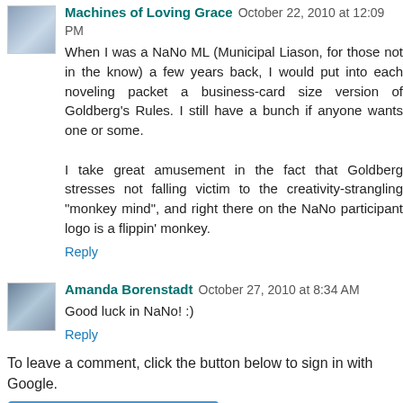Machines of Loving Grace  October 22, 2010 at 12:09 PM
When I was a NaNo ML (Municipal Liason, for those not in the know) a few years back, I would put into each noveling packet a business-card size version of Goldberg's Rules. I still have a bunch if anyone wants one or some.

I take great amusement in the fact that Goldberg stresses not falling victim to the creativity-strangling "monkey mind", and right there on the NaNo participant logo is a flippin' monkey.
Reply
Amanda Borenstadt  October 27, 2010 at 8:34 AM
Good luck in NaNo! :)
Reply
To leave a comment, click the button below to sign in with Google.
SIGN IN WITH GOOGLE